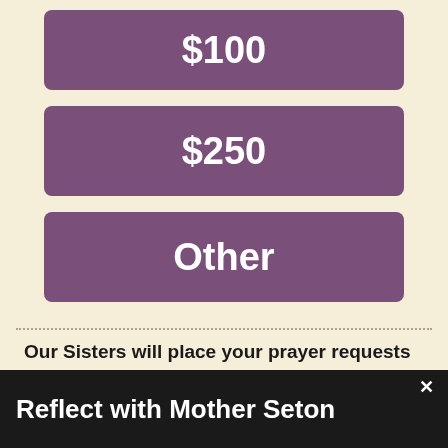$100
$250
Other
Our Sisters will place your prayer requests at Mother Seton's Altar and pray for your intentions during Holy Mass at the Basilica.
Reflect with Mother Seton